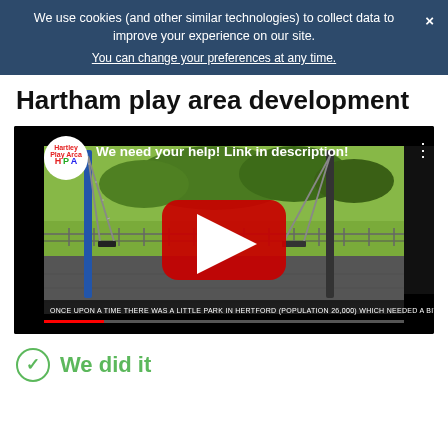We use cookies (and other similar technologies) to collect data to improve your experience on our site. You can change your preferences at any time.
Hartham play area development
[Figure (screenshot): YouTube video thumbnail showing a playground with swings, a red play button in the center. Video title reads 'We need your help! Link in description!' with subtitle text: 'ONCE UPON A TIME THERE WAS A LITTLE PARK IN HERTFORD (POPULATION 26,000) WHICH NEEDED A BIT OF HELP...']
We did it